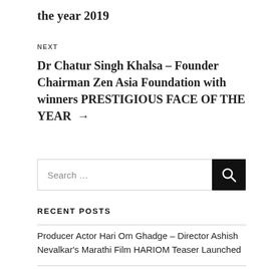the year 2019
NEXT
Dr Chatur Singh Khalsa – Founder Chairman Zen Asia Foundation with winners PRESTIGIOUS FACE OF THE YEAR →
Search …
RECENT POSTS
Producer Actor Hari Om Ghadge – Director Ashish Nevalkar's Marathi Film HARIOM Teaser Launched